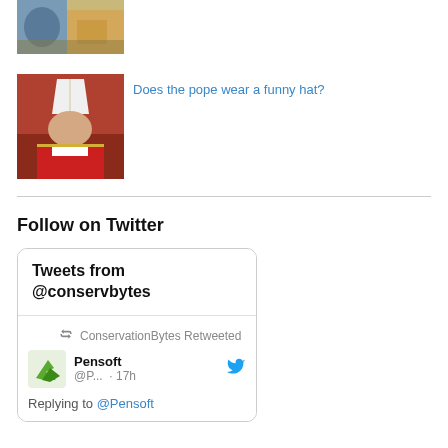[Figure (photo): Top thumbnail image - colorful illustration/photo at top]
[Figure (photo): Photo of the Pope in red and white ceremonial robes and hat]
Does the pope wear a funny hat?
Follow on Twitter
Tweets from @conservbytes
ConservationBytes Retweeted
Pensoft @P... · 17h
Replying to @Pensoft